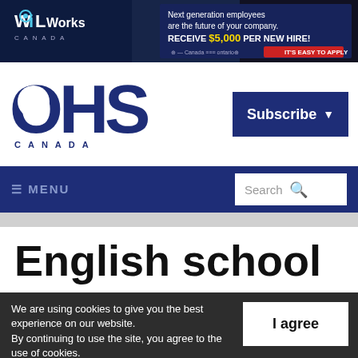[Figure (photo): WIL Works advertisement banner: Next generation employees are the future of your company. RECEIVE $5,000 PER NEW HIRE!]
[Figure (logo): OHS Canada logo - large dark blue bold letters OHS with CANADA underneath in small spaced caps]
Subscribe
≡ MENU
Search
English school
We are using cookies to give you the best experience on our website. By continuing to use the site, you agree to the use of cookies. To find out more, read our privacy policy.
I agree